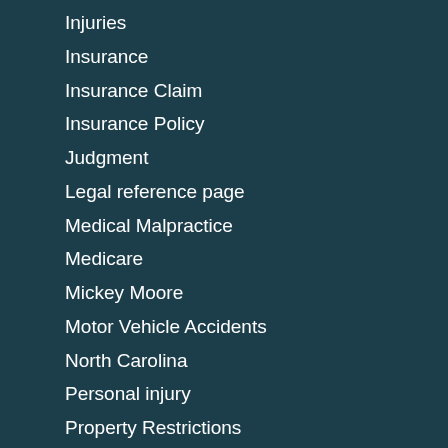Injuries
Insurance
Insurance Claim
Insurance Policy
Judgment
Legal reference page
Medical Malpractice
Medicare
Mickey Moore
Motor Vehicle Accidents
North Carolina
Personal injury
Property Restrictions